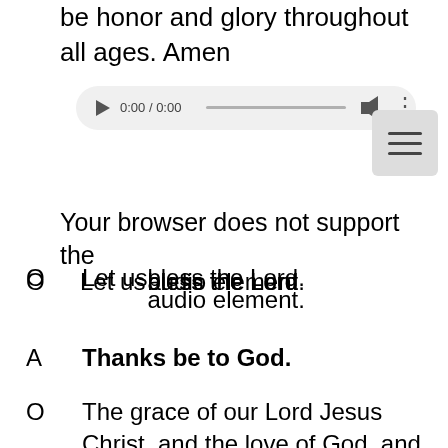be honor and glory throughout all ages. Amen
[Figure (screenshot): Audio player widget showing 0:00 / 0:00 with play button, seek bar, volume icon, and more options button]
Your browser does not support the
O   Let us bless the Lord. / audio element.
A   Thanks be to God.
O   The grace of our Lord Jesus Christ, and the love of God, and the fellowship of the Holy Spirit, be